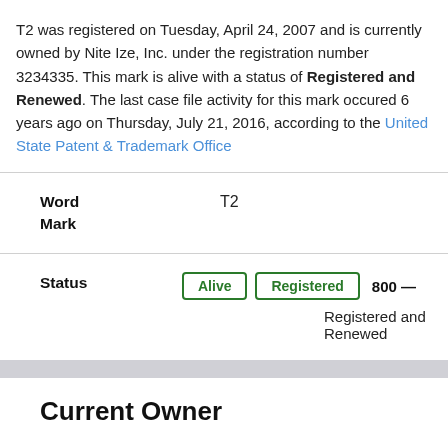T2 was registered on Tuesday, April 24, 2007 and is currently owned by Nite Ize, Inc. under the registration number 3234335. This mark is alive with a status of Registered and Renewed. The last case file activity for this mark occured 6 years ago on Thursday, July 21, 2016, according to the United State Patent & Trademark Office
| Field | Value |
| --- | --- |
| Word Mark | T2 |
| Status | Alive | Registered | 800 — Registered and Renewed |
Current Owner